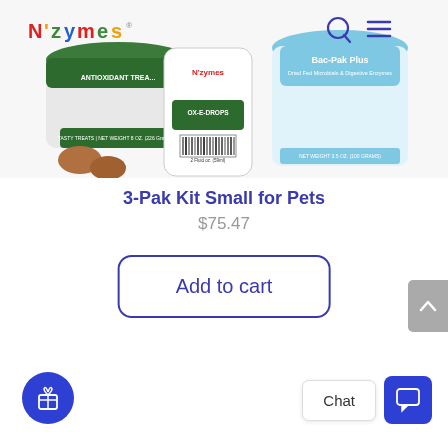[Figure (photo): Product photo showing N'zymes branded pet supplement products including Antioxidant Treats, OX-E-DROPS, and Bac-Pak Plus bottles arranged together, with brown chew tablets in the foreground. N'zymes logo visible in top left with colorful lettering, search and menu icons top right.]
3-Pak Kit Small for Pets
$75.47
Add to cart